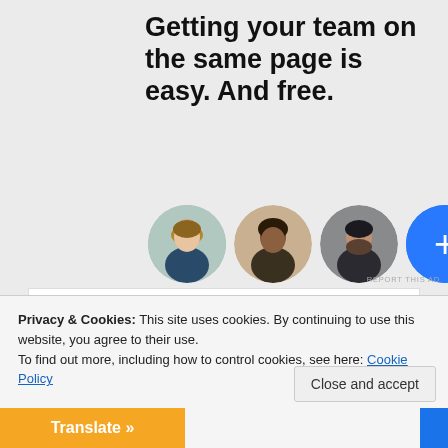Getting your team on the same page is easy. And free.
[Figure (illustration): Three circular avatar photos of people (woman with light skin, woman with dark skin, man with beard) and a blue circle with a plus sign, arranged in a horizontal row]
REPORT THIS AD
Privacy & Cookies: This site uses cookies. By continuing to use this website, you agree to their use.
To find out more, including how to control cookies, see here: Cookie Policy
Close and accept
Translate »